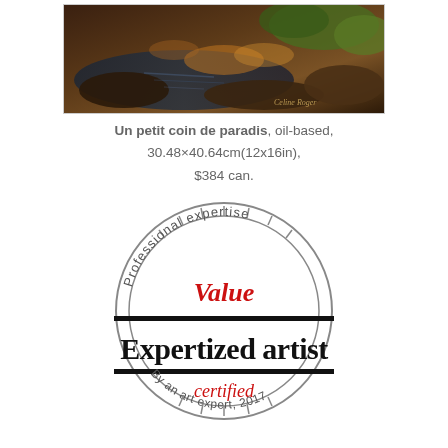[Figure (photo): Oil painting of a nature scene with rocks, water, and autumn foliage with artist signature 'Celine Roger' in bottom right]
Un petit coin de paradis, oil-based, 30.48×40.64cm(12x16in), $384 can.
[Figure (other): Circular stamp/seal reading 'Professional expertise' at top arc, 'Value' in red gothic font in center, 'Expertized artist' in large black gothic font across middle with two horizontal black bars, 'certified' in red italic font below, and 'By an art expert, 2017' along bottom arc. Two concentric circles form the outer ring with tick marks.]